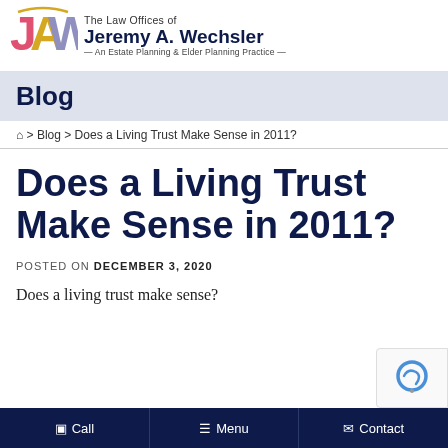[Figure (logo): JAW law firm logo with stylized letters J, A, W in red, yellow, and purple]
The Law Offices of Jeremy A. Wechsler — An Estate Planning & Elder Planning Practice —
Blog
🏠 > Blog > Does a Living Trust Make Sense in 2011?
Does a Living Trust Make Sense in 2011?
POSTED ON DECEMBER 3, 2020
Does a living trust make sense?
Call  Menu  Contact